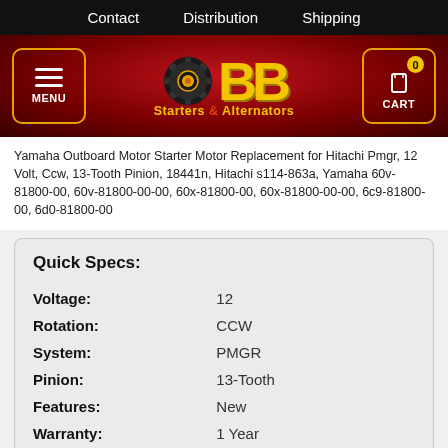Contact  Distribution  Shipping
[Figure (logo): BB Starters & Alternators logo with gear icon on dark red gradient background, with MENU button on left and CART button on right]
Yamaha Outboard Motor Starter Motor Replacement for Hitachi Pmgr, 12 Volt, Ccw, 13-Tooth Pinion, 18441n, Hitachi s114-863a, Yamaha 60v-81800-00, 60v-81800-00-00, 60x-81800-00, 60x-81800-00-00, 6c9-81800-00, 6d0-81800-00
| Spec | Value |
| --- | --- |
| Voltage: | 12 |
| Rotation: | CCW |
| System: | PMGR |
| Pinion: | 13-Tooth |
| Features: | New |
| Warranty: | 1 Year |